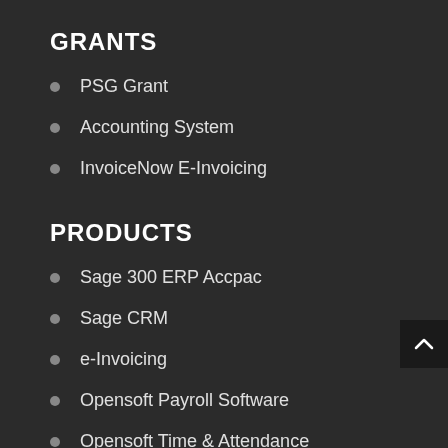GRANTS
PSG Grant
Accounting System
InvoiceNow E-Invoicing
PRODUCTS
Sage 300 ERP Accpac
Sage CRM
e-Invoicing
Opensoft Payroll Software
Opensoft Time & Attendance